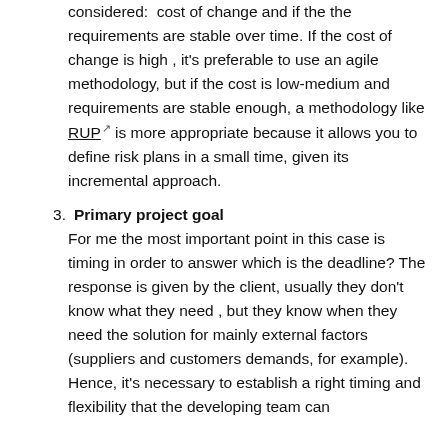considered:  cost of change and if the the requirements are stable over time. If the cost of change is high , it's preferable to use an agile methodology, but if the cost is low-medium and requirements are stable enough, a methodology like RUP ↗ is more appropriate because it allows you to define risk plans in a small time, given its incremental approach.
3. Primary project goal
For me the most important point in this case is timing in order to answer which is the deadline? The response is given by the client, usually they don't know what they need , but they know when they need the solution for mainly external factors (suppliers and customers demands, for example). Hence, it's necessary to establish a right timing and flexibility that the developing team can